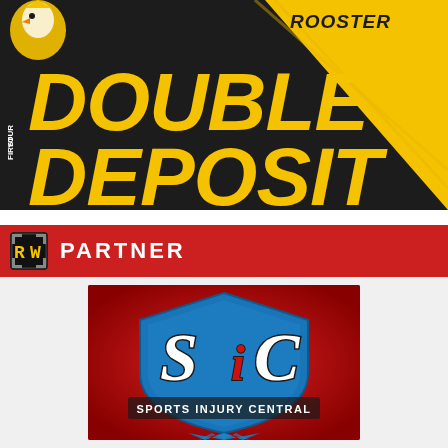[Figure (logo): Top banner with dark background and yellow diagonal, showing 'DOUBLE YOUR FIRST DEPOSIT' text in bold yellow italic font, with a rooster mascot icon. Yellow stripe in upper right corner with 'ROOSTER' text.]
[Figure (logo): Red partner bar with RW (Rooster Wrestler) icon and 'PARTNER' text in white bold capitals]
[Figure (logo): SiC Sports Injury Central logo on red background - blue shield shape with white SiC letters and 'SPORTS INJURY CENTRAL' text below]